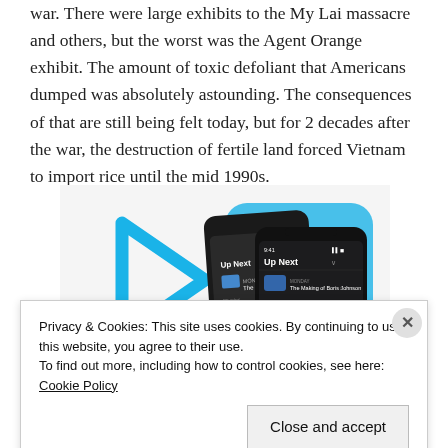war. There were large exhibits to the My Lai massacre and others, but the worst was the Agent Orange exhibit. The amount of toxic defoliant that Americans dumped was absolutely astounding. The consequences of that are still being felt today, but for 2 decades after the war, the destruction of fertile land forced Vietnam to import rice until the mid 1990s.
[Figure (screenshot): A podcast or media app screenshot showing 'Up Next' queue with mobile phone interface, with blue decorative play button graphic and app UI on dark phone screens.]
Privacy & Cookies: This site uses cookies. By continuing to use this website, you agree to their use.
To find out more, including how to control cookies, see here: Cookie Policy
Close and accept